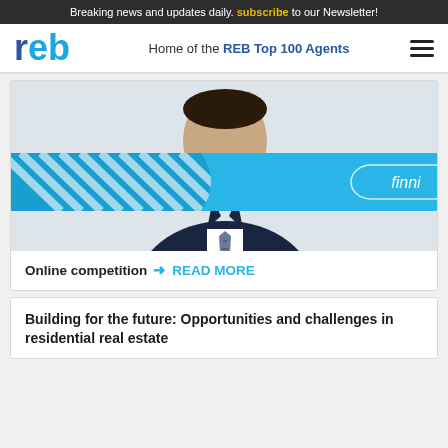Breaking news and updates daily. Subscribe to our Newsletter!
reb — Home of the REB Top 100 Agents
[Figure (photo): Advertisement card showing a man in a business suit with a cyan/blue banner overlay branded 'finni'. Caption reads: Online competition ➜ READ MORE]
Online competition ➜ READ MORE
Building for the future: Opportunities and challenges in residential real estate